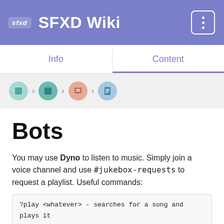SFXD Wiki
Info | Content
[Figure (infographic): Breadcrumb navigation with four circular icons (teal, teal2, orange, blue) separated by chevron arrows]
Bots
You may use Dyno to listen to music. Simply join a voice channel and use #jukebox-requests to request a playlist. Useful commands:
?play <whatever> - searches for a song and plays it
?nowplaying - displays Now Playing
?skip - skips a song. Vote-based if multiple listen to